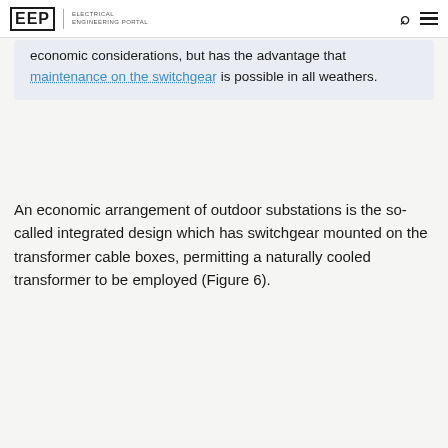EEP | Electrical Engineering Portal
economic considerations, but has the advantage that maintenance on the switchgear is possible in all weathers.
An economic arrangement of outdoor substations is the so-called integrated design which has switchgear mounted on the transformer cable boxes, permitting a naturally cooled transformer to be employed (Figure 6).